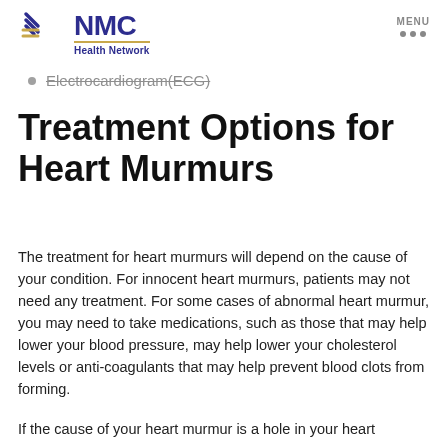NMC Health Network
Electrocardiogram(ECG)
Treatment Options for Heart Murmurs
The treatment for heart murmurs will depend on the cause of your condition. For innocent heart murmurs, patients may not need any treatment. For some cases of abnormal heart murmur, you may need to take medications, such as those that may help lower your blood pressure, may help lower your cholesterol levels or anti-coagulants that may help prevent blood clots from forming.
If the cause of your heart murmur is a hole in your heart